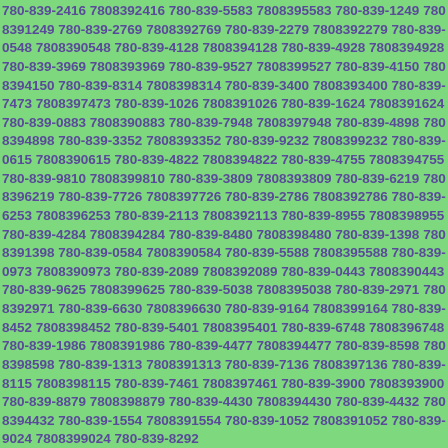780-839-2416 7808392416 780-839-5583 7808395583 780-839-1249 7808391249 780-839-2769 7808392769 780-839-2279 7808392279 780-839-0548 7808390548 780-839-4128 7808394128 780-839-4928 7808394928 780-839-3969 7808393969 780-839-9527 7808399527 780-839-4150 7808394150 780-839-8314 7808398314 780-839-3400 7808393400 780-839-7473 7808397473 780-839-1026 7808391026 780-839-1624 7808391624 780-839-0883 7808390883 780-839-7948 7808397948 780-839-4898 7808394898 780-839-3352 7808393352 780-839-9232 7808399232 780-839-0615 7808390615 780-839-4822 7808394822 780-839-4755 7808394755 780-839-9810 7808399810 780-839-3809 7808393809 780-839-6219 7808396219 780-839-7726 7808397726 780-839-2786 7808392786 780-839-6253 7808396253 780-839-2113 7808392113 780-839-8955 7808398955 780-839-4284 7808394284 780-839-8480 7808398480 780-839-1398 7808391398 780-839-0584 7808390584 780-839-5588 7808395588 780-839-0973 7808390973 780-839-2089 7808392089 780-839-0443 7808390443 780-839-9625 7808399625 780-839-5038 7808395038 780-839-2971 7808392971 780-839-6630 7808396630 780-839-9164 7808399164 780-839-8452 7808398452 780-839-5401 7808395401 780-839-6748 7808396748 780-839-1986 7808391986 780-839-4477 7808394477 780-839-8598 7808398598 780-839-1313 7808391313 780-839-7136 7808397136 780-839-8115 7808398115 780-839-7461 7808397461 780-839-3900 7808393900 780-839-8879 7808398879 780-839-4430 7808394430 780-839-4432 7808394432 780-839-1554 7808391554 780-839-1052 7808391052 780-839-9024 7808399024 780-839-8292